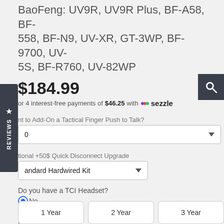BaoFeng: UV9R, UV9R Plus, BF-A58, BF-558, BF-N9, UV-XR, GT-3WP, BF-9700, UV-5S, BF-R760, UV-82WP
$184.99
or 4 interest-free payments of $46.25 with sezzle
nt to Add-On a Tactical Finger Push to Talk?
tional +50$ Quick Disconnect Upgrade
andard Hardwired Kit
Do you have a TCI Headset?
No
Yes
Headset Make/Model
Optional Headset Confirmation
Add accident protection offered by Extend
1 Year
2 Year
3 Year